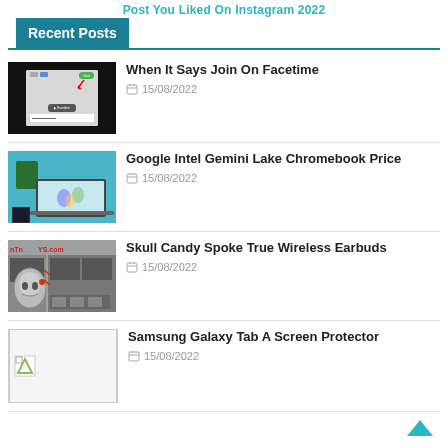Post You Liked On Instagram 2022
Recent Posts
When It Says Join On Facetime — 15/08/2022
Google Intel Gemini Lake Chromebook Price — 15/08/2022
Skull Candy Spoke True Wireless Earbuds — 15/08/2022
Samsung Galaxy Tab A Screen Protector — 15/08/2022
Macbook Pro 2015 15 Inch S...